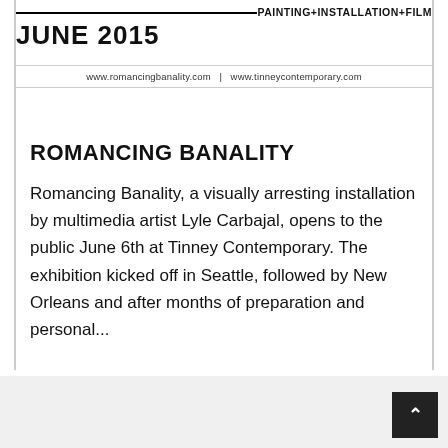PAINTING+INSTALLATION+FILM
JUNE 2015
www.romancingbanality.com  |  www.tinneycontemporary.com
ROMANCING BANALITY
Romancing Banality, a visually arresting installation by multimedia artist Lyle Carbajal, opens to the public June 6th at Tinney Contemporary. The exhibition kicked off in Seattle, followed by New Orleans and after months of preparation and personal...